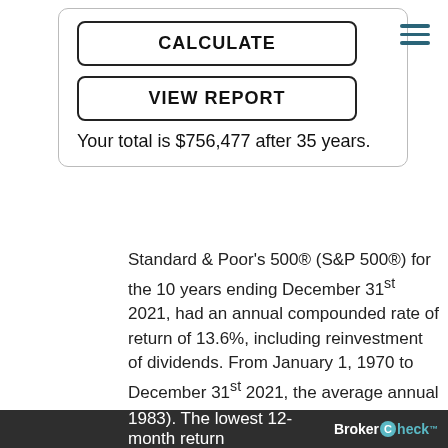CALCULATE
VIEW REPORT
Your total is $756,477 after 35 years.
Standard & Poor's 500® (S&P 500®) for the 10 years ending December 31st 2021, had an annual compounded rate of return of 13.6%, including reinvestment of dividends. From January 1, 1970 to December 31st 2021, the average annual compounded rate of return for the S&P 500®, including reinvestment of dividends, was approximately 11.3% (source: www.spglobal.com). Since 1970, the highest 12-month return was 61% (June 1982 through June 1983). The lowest 12-month return
BrokerCheck